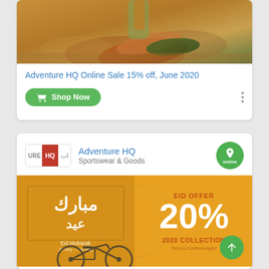[Figure (photo): Running shoes photo on earthy/sandy background, upper portion of card]
Adventure HQ Online Sale 15% off, June 2020
Shop Now
[Figure (logo): Adventure HQ brand logo with red HQ box and Arabic text]
Adventure HQ
Sportswear & Goods
[Figure (photo): Eid Mubarak promotional banner with golden/orange background, Arabic text, Eid Offer 20% off 2020 Collection, bicycle silhouette at bottom]